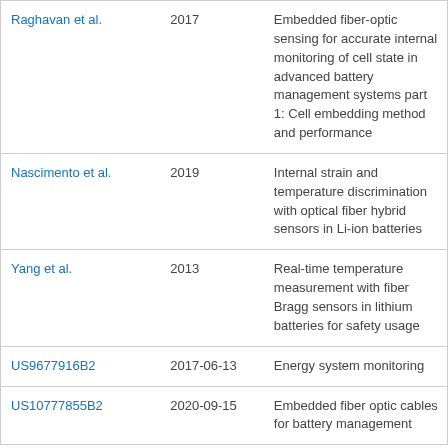| Author | Year | Title |
| --- | --- | --- |
| Raghavan et al. | 2017 | Embedded fiber-optic sensing for accurate internal monitoring of cell state in advanced battery management systems part 1: Cell embedding method and performance |
| Nascimento et al. | 2019 | Internal strain and temperature discrimination with optical fiber hybrid sensors in Li-ion batteries |
| Yang et al. | 2013 | Real-time temperature measurement with fiber Bragg sensors in lithium batteries for safety usage |
| US9677916B2 | 2017-06-13 | Energy system monitoring |
| US10777855B2 | 2020-09-15 | Embedded fiber optic cables for battery management |